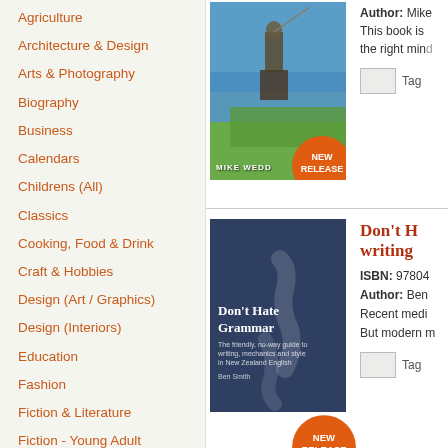Agriculture
Architecture & Design
Arts & Photography
Biography
Business
Calendars
Childrens (All)
Classics
Cooking, Food & Drink
Craft & Hobbies
Design (Art / Graphics)
Design (Interiors)
Education
Fashion
Fiction & Literature
Fiction - Young Adult
Health & Wellbeing
History
Home & Garden
[Figure (photo): Book cover: fishing scene with person wading in river, with NEW RELEASE badge]
Author: Mike... This book is... the right mind...
Tag
[Figure (photo): Book cover: Don't Hate Grammar dark blue with NZ map illustration, NEW RELEASE badge]
Don't H... writing...
ISBN: 97804... Author: Ben... Recent medi... But modern m...
Tag